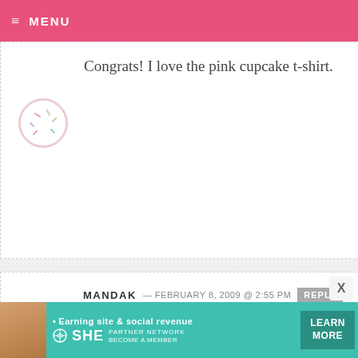MENU
Congrats! I love the pink cupcake t-shirt.
MANDAK — FEBRUARY 8, 2009 @ 2:55 PM  REPLY
Congrats to you! How fun to find your stuff in there!

IF I won, I would want the Bakerella Raspberry colored T-Shirt. I love it!
[Figure (infographic): SHE Partner Network advertisement banner with teal background, woman photo, and Learn More button]
• Earning site & social revenue  SHE PARTNER NETWORK BECOME A MEMBER  LEARN MORE